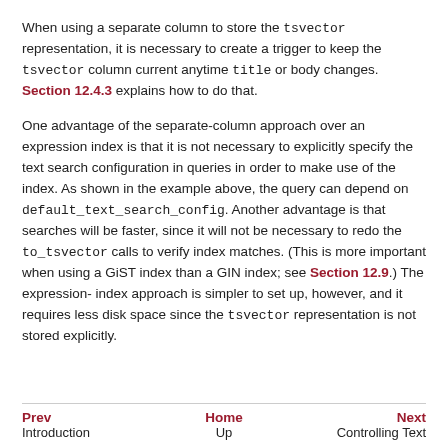When using a separate column to store the tsvector representation, it is necessary to create a trigger to keep the tsvector column current anytime title or body changes. Section 12.4.3 explains how to do that.
One advantage of the separate-column approach over an expression index is that it is not necessary to explicitly specify the text search configuration in queries in order to make use of the index. As shown in the example above, the query can depend on default_text_search_config. Another advantage is that searches will be faster, since it will not be necessary to redo the to_tsvector calls to verify index matches. (This is more important when using a GiST index than a GIN index; see Section 12.9.) The expression-index approach is simpler to set up, however, and it requires less disk space since the tsvector representation is not stored explicitly.
Prev | Home | Next
Introduction | Up | Controlling Text